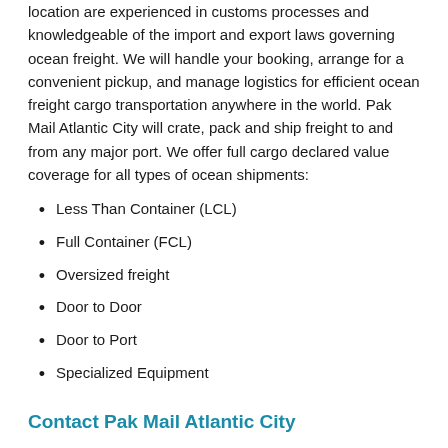location are experienced in customs processes and knowledgeable of the import and export laws governing ocean freight. We will handle your booking, arrange for a convenient pickup, and manage logistics for efficient ocean freight cargo transportation anywhere in the world. Pak Mail Atlantic City will crate, pack and ship freight to and from any major port. We offer full cargo declared value coverage for all types of ocean shipments:
Less Than Container (LCL)
Full Container (FCL)
Oversized freight
Door to Door
Door to Port
Specialized Equipment
Contact Pak Mail Atlantic City
For an ocean freight quote, contact us today!